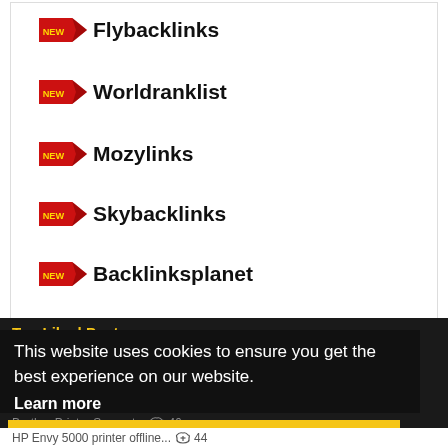Flybacklinks
Worldranklist
Mozylinks
Skybacklinks
Backlinksplanet
Updatesee
Top Liked Posts
This website uses cookies to ensure you get the best experience on our website.
Learn more
Add Adobe Printer On Window... 48
installation... 47
connect canon mg2922 printer t... 47
Brother Printer Support... 46
Got it!
HP Envy 5000 printer offline... 44